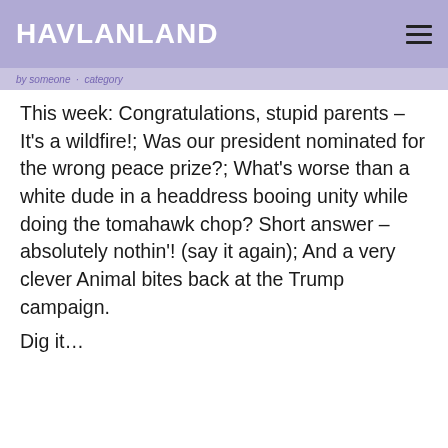HAVLANLAND
This week: Congratulations, stupid parents – It's a wildfire!; Was our president nominated for the wrong peace prize?; What's worse than a white dude in a headdress booing unity while doing the tomahawk chop? Short answer –  absolutely nothin'! (say it again); And a very clever Animal bites back at the Trump campaign.
Dig it…